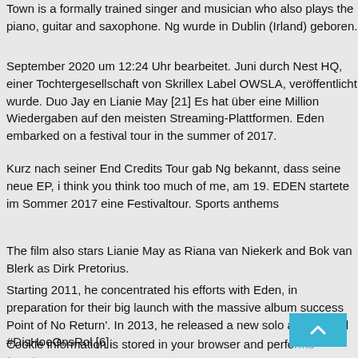Town is a formally trained singer and musician who also plays the piano, guitar and saxophone. Ng wurde in Dublin (Irland) geboren.
September 2020 um 12:24 Uhr bearbeitet. Juni durch Nest HQ, einer Tochtergesellschaft von Skrillex Label OWSLA, veröffentlicht wurde. Duo Jay en Lianie May [21] Es hat über eine Million Wiedergaben auf den meisten Streaming-Plattformen. Eden embarked on a festival tour in the summer of 2017.
Kurz nach seiner End Credits Tour gab Ng bekannt, dass seine neue EP, i think you think too much of me, am 19. EDEN startete im Sommer 2017 eine Festivaltour. Sports anthems
The film also stars Lianie May as Riana van Niekerk and Bok van Blerk as Dirk Pretorius.
Starting 2011, he concentrated his efforts with Eden, in preparation for their big launch with the massive album success Point of No Return'. In 2013, he released a new solo album titled #DisHoeOnsRol.[6].
Cookie information is stored in your browser and performs functions